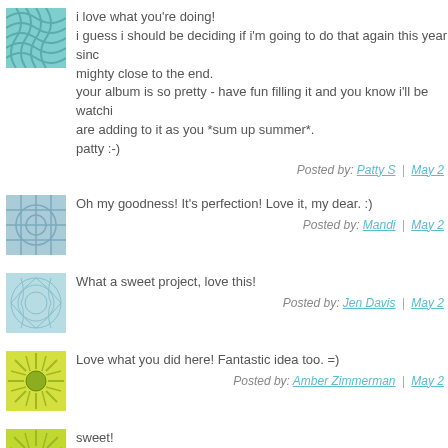i love what you're doing!
i guess i should be deciding if i'm going to do that again this year since mighty close to the end.
your album is so pretty - have fun filling it and you know i'll be watching are adding to it as you *sum up summer*.
patty :-)
Posted by: Patty S | May 2
Oh my goodness! It's perfection! Love it, my dear. :)
Posted by: Mandi | May 2
What a sweet project, love this!
Posted by: Jen Davis | May 2
Love what you did here! Fantastic idea too. =)
Posted by: Amber Zimmerman | May 2
sweet!
love it!!!
i love the concept too....might have to do that myself...it's easier to keep to try and catch up later!!!